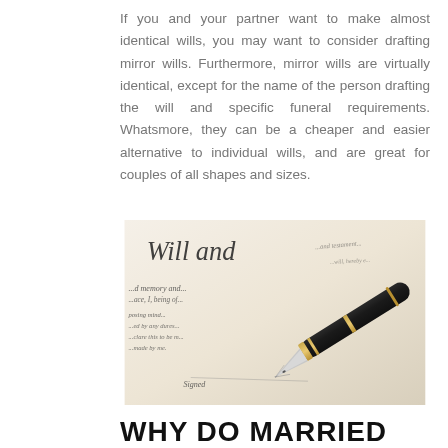If you and your partner want to make almost identical wills, you may want to consider drafting mirror wills. Furthermore, mirror wills are virtually identical, except for the name of the person drafting the will and specific funeral requirements. Whatsmore, they can be a cheaper and easier alternative to individual wills, and are great for couples of all shapes and sizes.
[Figure (photo): Close-up photograph of a Last Will and Testament document with cursive handwriting and a black and gold fountain pen resting on the page. Visible text includes 'Will and...', 'posing mind', 'by any dures', 'Clare this to be', 'made by me.', 'Signed']
WHY DO MARRIED